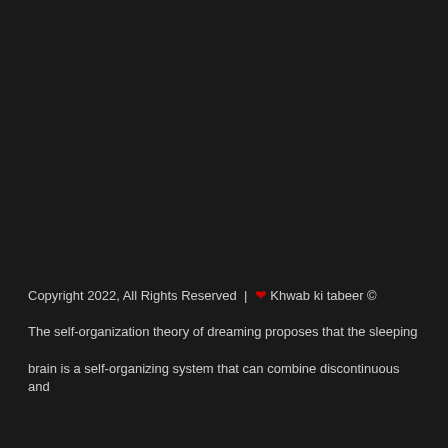Copyright 2022, All Rights Reserved | ❤ Khwab ki tabeer ©

The self-organization theory of dreaming proposes that the sleeping

brain is a self-organizing system that can combine discontinuous and